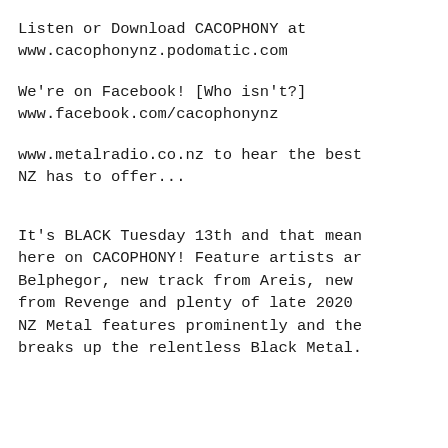Listen or Download CACOPHONY at www.cacophonynz.podomatic.com
We're on Facebook! [Who isn't?] www.facebook.com/cacophonynz
www.metalradio.co.nz to hear the best NZ has to offer...
It's BLACK Tuesday 13th and that mean here on CACOPHONY! Feature artists ar Belphegor, new track from Areis, new from Revenge and plenty of late 2020 NZ Metal features prominently and the breaks up the relentless Black Metal.